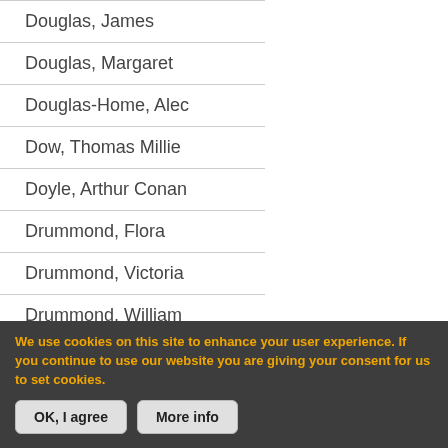Douglas, James
Douglas, Margaret
Douglas-Home, Alec
Dow, Thomas Millie
Doyle, Arthur Conan
Drummond, Flora
Drummond, Victoria
Drummond, William
Duncan, Henry
Dundas, Henry
We use cookies on this site to enhance your user experience. If you continue to use our website you are giving your consent for us to set cookies.
OK, I agree | More info